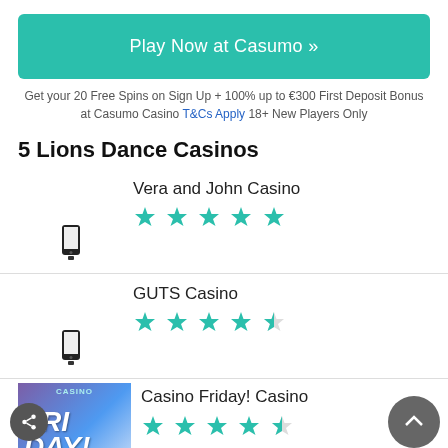Play Now at Casumo »
Get your 20 Free Spins on Sign Up + 100% up to €300 First Deposit Bonus at Casumo Casino T&Cs Apply 18+ New Players Only
5 Lions Dance Casinos
Vera and John Casino ★★★★★
GUTS Casino ★★★★☆
Casino Friday! Casino ★★★★☆